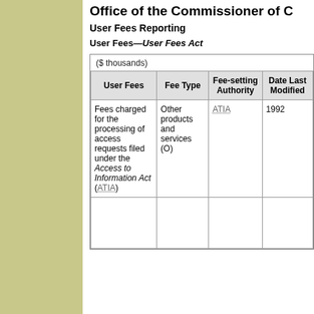Office of the Commissioner of C
User Fees Reporting
User Fees—User Fees Act
| User Fees | Fee Type | Fee-setting Authority | Date Last Modified |
| --- | --- | --- | --- |
| Fees charged for the processing of access requests filed under the Access to Information Act (ATIA) | Other products and services (O) | ATIA | 1992 |